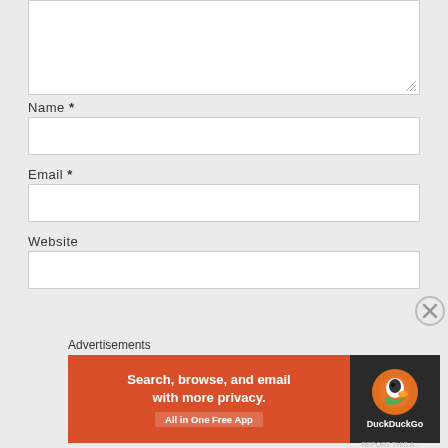[Figure (screenshot): A web comment form showing a partially visible textarea at the top, followed by form fields for Name (required), Email (required), and Website, each with a white input box. Below is an advertisement section labeled 'Advertisements' with a DuckDuckGo banner ad showing 'Search, browse, and email with more privacy. All in One Free App' on an orange background with DuckDuckGo logo on dark background. A close (X) button appears on the right side.]
Name *
Email *
Website
Advertisements
[Figure (screenshot): DuckDuckGo advertisement banner: 'Search, browse, and email with more privacy. All in One Free App' on orange background with duck logo on dark background.]